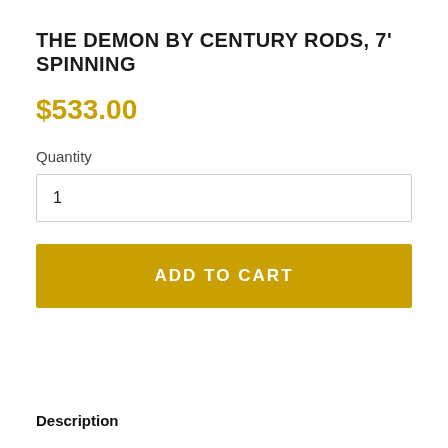THE DEMON BY CENTURY RODS, 7' SPINNING
$533.00
Quantity
1
ADD TO CART
Description